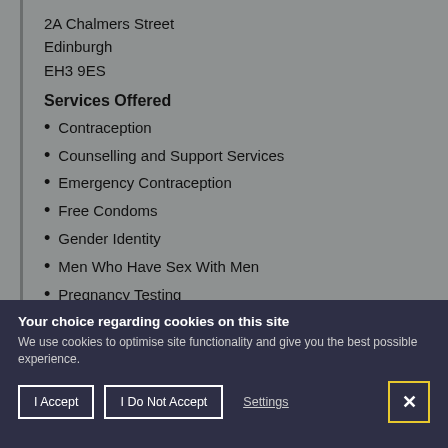2A Chalmers Street
Edinburgh
EH3 9ES
Services Offered
Contraception
Counselling and Support Services
Emergency Contraception
Free Condoms
Gender Identity
Men Who Have Sex With Men
Pregnancy Testing
Your choice regarding cookies on this site
We use cookies to optimise site functionality and give you the best possible experience.